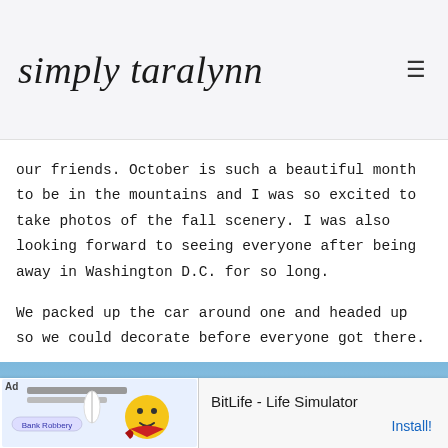simply taralynn
our friends. October is such a beautiful month to be in the mountains and I was so excited to take photos of the fall scenery. I was also looking forward to seeing everyone after being away in Washington D.C. for so long.
We packed up the car around one and headed up so we could decorate before everyone got there.
[Figure (photo): Panoramic photo of fall foliage with orange and red trees under a blue sky with light clouds]
[Figure (screenshot): Ad banner for BitLife - Life Simulator app with Install button]